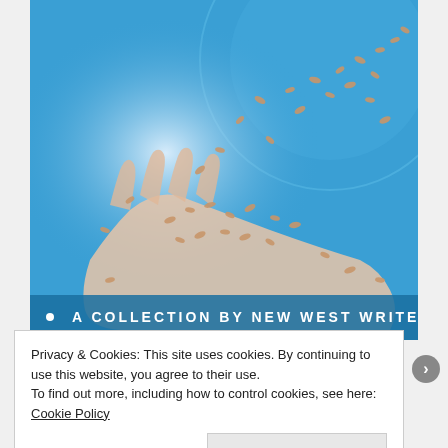[Figure (photo): A hand holding wheat/grain seeds against a blue globe background. Seeds are scattered/falling upward. Text at bottom reads 'A COLLECTION BY NEW WEST WRITERS' in white spaced letters on blue background.]
Privacy & Cookies: This site uses cookies. By continuing to use this website, you agree to their use.
To find out more, including how to control cookies, see here: Cookie Policy
Close and accept